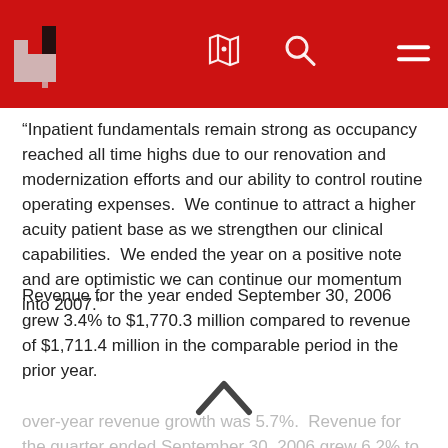[Navigation bar with logo, map icon, search icon, hamburger menu]
“Inpatient fundamentals remain strong as occupancy reached all time highs due to our renovation and modernization efforts and our ability to control routine operating expenses.  We continue to attract a higher acuity patient base as we strengthen our clinical capabilities.  We ended the year on a positive note and are optimistic we can continue our momentum into 2007.”
Revenue for the year ended September 30, 2006 grew 3.4% to $1,770.3 million compared to revenue of $1,711.4 million in the comparable period in the prior year.
over-year revenue growth was 5.7%.  Revenue for the quarter ended September 30, 2006 grew 6.2% to $453.6 million compared to revenue of $427.2 million in the same